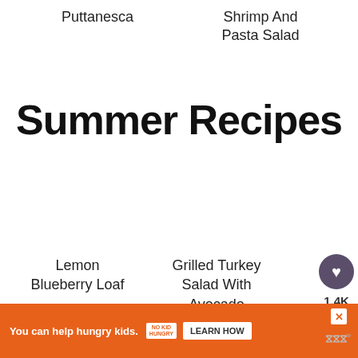Puttanesca
Shrimp And Pasta Salad
Summer Recipes
Lemon Blueberry Loaf
Grilled Turkey Salad With Avocado Dressing
1.4K
You can help hungry kids. NO KID HUNGRY LEARN HOW